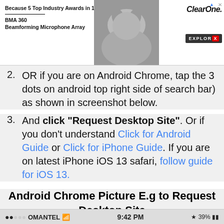[Figure (screenshot): ClearOne advertisement banner: 'Because 5 Top Industry Awards in 1 Year Can't All be Wrong', BMA 360, Beamforming Microphone Array, with dog photo and ClearOne logo with EXPLOR button]
2. OR if you are on Android Chrome, tap the 3 dots on android top right side of search bar) as shown in screenshot below.
3. And click "Request Desktop Site". Or if you don't understand Click for Android Guide or Click for iPhone Guide. If you are on latest iPhone iOS 13 safari, follow guide for iOS 13.
Android Chrome Picture E.g to Request Desktop Site
[Figure (screenshot): Android phone status bar showing OMANTEL carrier, WiFi signal, 9:42 PM time, Bluetooth icon, 39% battery]
[Figure (screenshot): Chewy.com advertisement: Pet Food, Products, Supplies at Low Prices - Pay the lowest prices on pet supplies at Chewy.com, chewy.com URL, with product image and blue arrow button]